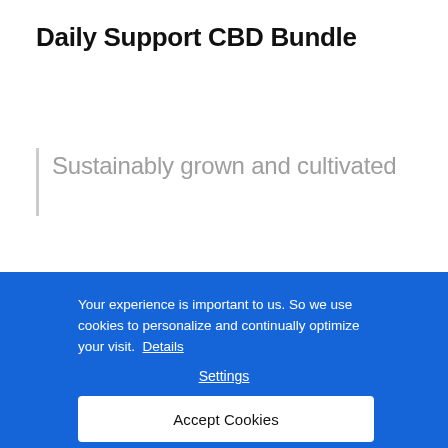Daily Support CBD Bundle
Sustainably grown and cultivated
Your experience is important to us. So we use cookies to personalize and continually optimize your visit.  Details
Settings
Accept Cookies